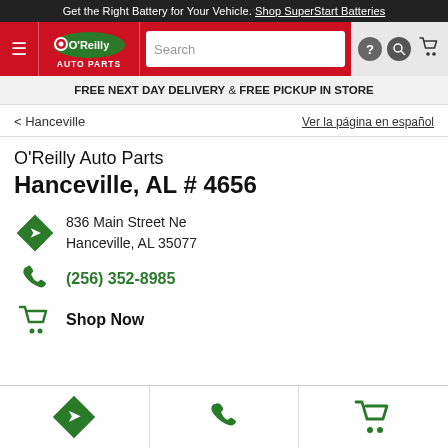Get the Right Battery for Your Vehicle. Shop SuperStart Batteries
[Figure (logo): O'Reilly Auto Parts logo on red background navigation bar with hamburger menu, search bar, help and search icons, and cart icon]
FREE NEXT DAY DELIVERY & FREE PICKUP IN STORE
< Hanceville    Ver la página en español
O'Reilly Auto Parts Hanceville, AL # 4656
836 Main Street Ne
Hanceville, AL 35077
(256) 352-8985
Shop Now
[Figure (infographic): Bottom tab bar with three icons: green direction diamond icon, green phone icon, green cart icon]